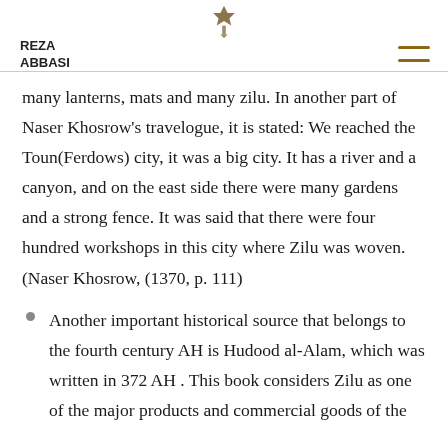REZA ABBASI
many lanterns, mats and many zilu. In another part of Naser Khosrow's travelogue, it is stated: We reached the Toun(Ferdows) city, it was a big city. It has a river and a canyon, and on the east side there were many gardens and a strong fence. It was said that there were four hundred workshops in this city where Zilu was woven. (Naser Khosrow, (1370, p. 111)
Another important historical source that belongs to the fourth century AH is Hudood al-Alam, which was written in 372 AH . This book considers Zilu as one of the major products and commercial goods of the